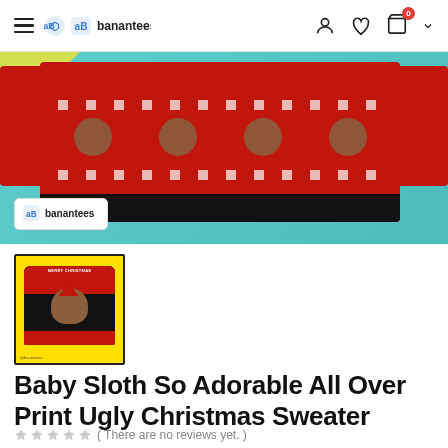banantees — navigation header with hamburger menu, logo, user icon, wishlist icon, cart (0), chevron
[Figure (photo): Hero banner showing ugly Christmas sweaters with sloth pattern on red knit fabric, teal/turquoise background, banantees logo watermark at bottom left]
[Figure (photo): Thumbnail of Baby Sloth ugly Christmas sweater product on yellow background with @banantees watermark]
Baby Sloth So Adorable All Over Print Ugly Christmas Sweater
( There are no reviews yet. )